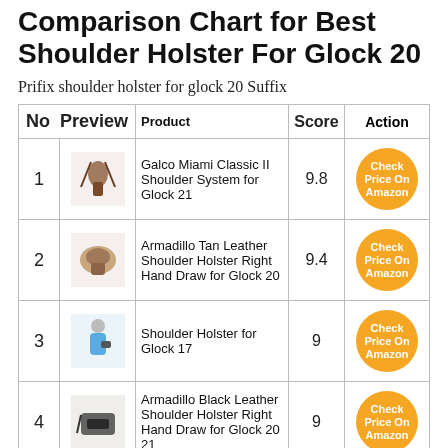Comparison Chart for Best Shoulder Holster For Glock 20
Prifix shoulder holster for glock 20 Suffix
| No | Preview | Product | Score | Action |
| --- | --- | --- | --- | --- |
| 1 | [image] | Galco Miami Classic II Shoulder System for Glock 21 | 9.8 | Check Price On Amazon |
| 2 | [image] | Armadillo Tan Leather Shoulder Holster Right Hand Draw for Glock 20 | 9.4 | Check Price On Amazon |
| 3 | [image] | Shoulder Holster for Glock 17 | 9 | Check Price On Amazon |
| 4 | [image] | Armadillo Black Leather Shoulder Holster Right Hand Draw for Glock 20 21 | 9 | Check Price On Amazon |
| 5 | [image] | Gould & Goodrich B804-G20 Gold Line... |  | Check Price On Amazon |